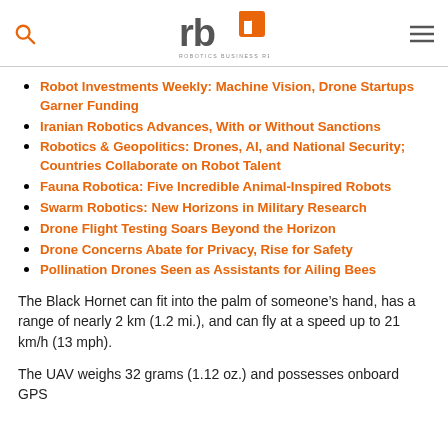Robotics Business Review
Robot Investments Weekly: Machine Vision, Drone Startups Garner Funding
Iranian Robotics Advances, With or Without Sanctions
Robotics & Geopolitics: Drones, AI, and National Security; Countries Collaborate on Robot Talent
Fauna Robotica: Five Incredible Animal-Inspired Robots
Swarm Robotics: New Horizons in Military Research
Drone Flight Testing Soars Beyond the Horizon
Drone Concerns Abate for Privacy, Rise for Safety
Pollination Drones Seen as Assistants for Ailing Bees
The Black Hornet can fit into the palm of someone’s hand, has a range of nearly 2 km (1.2 mi.), and can fly at a speed up to 21 km/h (13 mph).
The UAV weighs 32 grams (1.12 oz.) and possesses onboard GPS